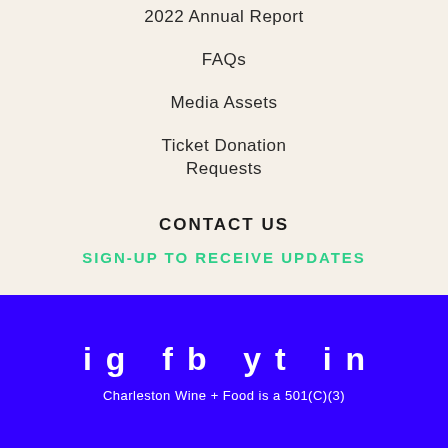2022 Annual Report
FAQs
Media Assets
Ticket Donation Requests
CONTACT US
SIGN-UP TO RECEIVE UPDATES
ig  fb  yt  in
Charleston Wine + Food is a 501(C)(3)